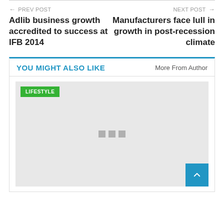← PREV POST
Adlib business growth accredited to success at IFB 2014
NEXT POST →
Manufacturers face lull in growth in post-recession climate
YOU MIGHT ALSO LIKE
More From Author
[Figure (other): Gray image placeholder with a green LIFESTYLE badge in the top-left corner and three gray loading squares in the center]